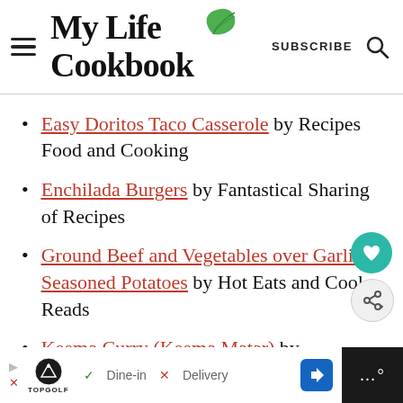My Life Cookbook — SUBSCRIBE
Easy Doritos Taco Casserole by Recipes Food and Cooking
Enchilada Burgers by Fantastical Sharing of Recipes
Ground Beef and Vegetables over Garlic Seasoned Potatoes by Hot Eats and Cool Reads
Keema Curry (Keema Matar) by Caroline's Cool